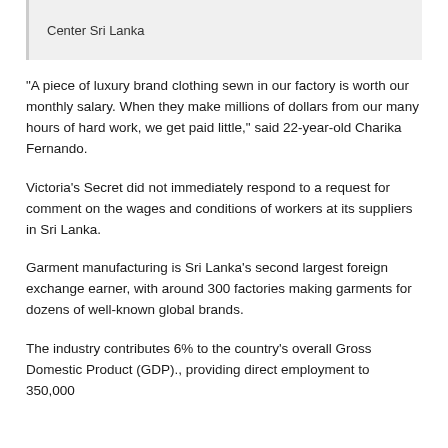Center Sri Lanka
“A piece of luxury brand clothing sewn in our factory is worth our monthly salary. When they make millions of dollars from our many hours of hard work, we get paid little,” said 22-year-old Charika Fernando.
Victoria’s Secret did not immediately respond to a request for comment on the wages and conditions of workers at its suppliers in Sri Lanka.
Garment manufacturing is Sri Lanka’s second largest foreign exchange earner, with around 300 factories making garments for dozens of well-known global brands.
The industry contributes 6% to the country’s overall Gross Domestic Product (GDP)., providing direct employment to 350,000